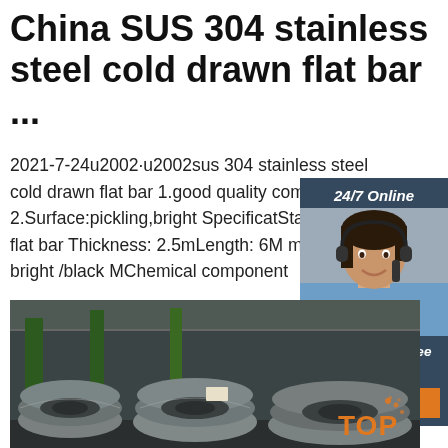China SUS 304 stainless steel cold drawn flat bar ...
2021-7-24u2002·u2002sus 304 stainless steel cold drawn flat bar 1.good quality competitive price 2.Surface:pickling,bright Specifications Stainless Steel flat bar Thickness: 2.5mm Length: 6M max Surface: bright /black Material Chemical component
[Figure (other): 24/7 online chat widget with photo of female customer service representative wearing headset, with 'Click here for free chat!' text and orange QUOTATION button]
[Figure (photo): Industrial warehouse with large coils of steel wire/rod stacked on floor, green metal structure in background. TOP badge visible in bottom right corner.]